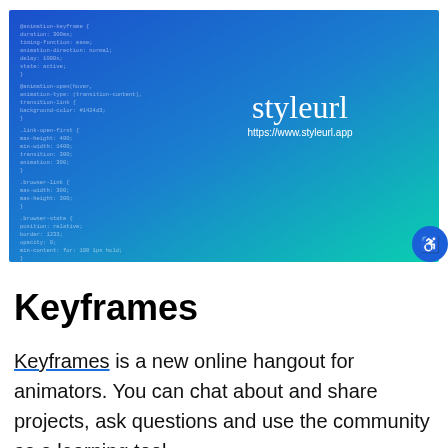[Figure (screenshot): A banner image with a blue-to-teal gradient background overlaid with faint CSS code on the left side. On the right side, white text reads 'styleurl' in large serif font, with 'https://www.styleurl.app' below it. A blue accessibility button with a wheelchair/person icon appears at the bottom-right corner.]
Keyframes
Keyframes is a new online hangout for animators. You can chat about and share projects, ask questions and use the community as a learning tool